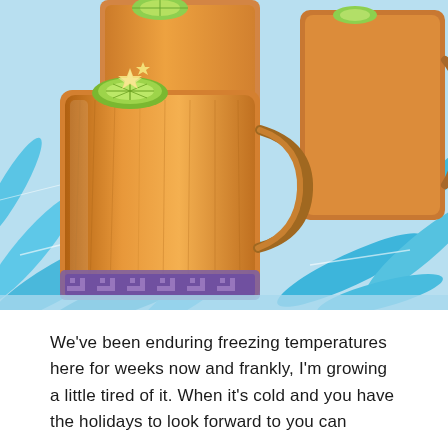[Figure (photo): Three glass mugs filled with warm amber-colored drink (likely a hot toddy or spiced cider) on a blue tropical leaf patterned tablecloth. The front mug has a lime slice and a star-shaped garnish (possibly a candy or star anise) on the rim. Two more mugs are visible in the background.]
We've been enduring freezing temperatures here for weeks now and frankly, I'm growing a little tired of it. When it's cold and you have the holidays to look forward to you can...